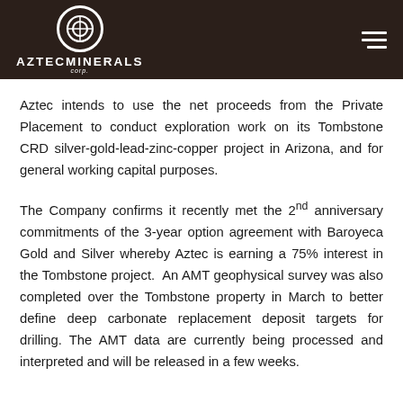AZTECMINERALS corp.
Aztec intends to use the net proceeds from the Private Placement to conduct exploration work on its Tombstone CRD silver-gold-lead-zinc-copper project in Arizona, and for general working capital purposes.
The Company confirms it recently met the 2nd anniversary commitments of the 3-year option agreement with Baroyeca Gold and Silver whereby Aztec is earning a 75% interest in the Tombstone project. An AMT geophysical survey was also completed over the Tombstone property in March to better define deep carbonate replacement deposit targets for drilling. The AMT data are currently being processed and interpreted and will be released in a few weeks.